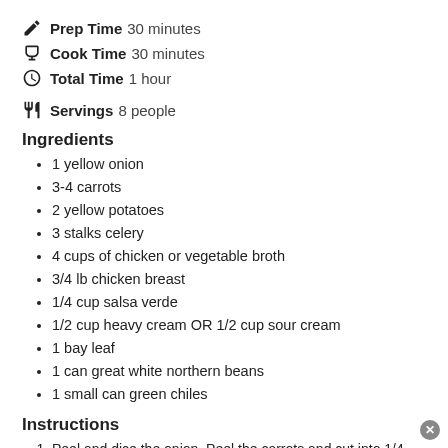Prep Time 30 minutes
Cook Time 30 minutes
Total Time 1 hour
Servings 8 people
Ingredients
1 yellow onion
3-4 carrots
2 yellow potatoes
3 stalks celery
4 cups of chicken or vegetable broth
3/4 lb chicken breast
1/4 cup salsa verde
1/2 cup heavy cream OR 1/2 cup sour cream
1 bay leaf
1 can great white northern beans
1 small can green chiles
Instructions
Peel and dice the onion. Peel the carrots and cut into 1/4 inch thick half moons. Cut celery into 1/4 inch thick slices as well. Peel the potatoes and cut into 1/2 inch cubes.